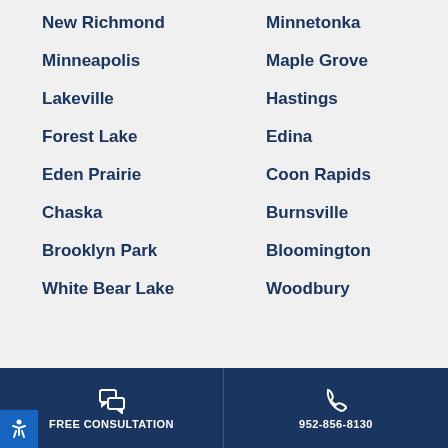New Richmond
Minnetonka
Minneapolis
Maple Grove
Lakeville
Hastings
Forest Lake
Edina
Eden Prairie
Coon Rapids
Chaska
Burnsville
Brooklyn Park
Bloomington
White Bear Lake
Woodbury
FREE CONSULTATION   952-856-8130